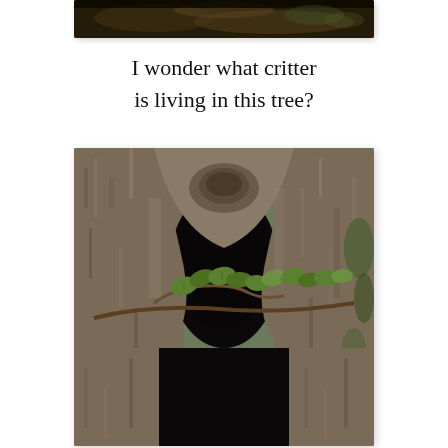[Figure (photo): Top portion of a forest/tree photograph, partially visible at the top of the page]
I wonder what critter
is living in this tree?
[Figure (photo): Close-up photograph of a large tree trunk with a hollow opening/cavity, green leaves from a branch visible in the foreground, textured bark with moss on the right side]